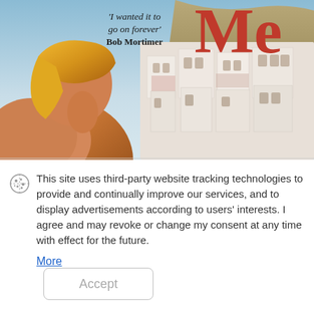[Figure (illustration): Book cover image showing a person viewed from behind wearing a yellow headscarf, looking at a Mediterranean-style white building village. Red 'Me' title text visible top right. Quote: 'I wanted it to go on forever' by Bob Mortimer.]
This site uses third-party website tracking technologies to provide and continually improve our services, and to display advertisements according to users' interests. I agree and may revoke or change my consent at any time with effect for the future.
More
Accept